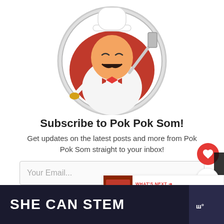[Figure (illustration): Cartoon chef mascot logo: a smiling chef with white hat, black mustache, red cape/background, holding a spatula, inside a circular plate border]
Subscribe to Pok Pok Som!
Get updates on the latest posts and more from Pok Pok Som straight to your inbox!
Your Email...
[Figure (logo): SHE CAN STEM logo on dark background with CNN branding]
[Figure (infographic): WHAT'S NEXT callout showing '10 Most Popular Foo...' with a food photo thumbnail]